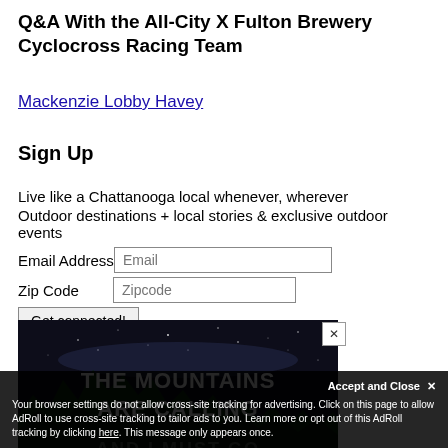Q&A With the All-City X Fulton Brewery Cyclocross Racing Team
Mackenzie Lobby Havey
Sign Up
Live like a Chattanooga local whenever, wherever
Outdoor destinations + local stories & exclusive outdoor events
Email Address [Email input]
Zip Code [Zipcode input]
Get connected! [button]
[Figure (other): Advertisement banner with dark night sky and forest background, text reads: THE MOUNTAINS ARE CALLING AND I MUST GO]
Accept and Close ×
Your browser settings do not allow cross-site tracking for advertising. Click on this page to allow AdRoll to use cross-site tracking to tailor ads to you. Learn more or opt out of this AdRoll tracking by clicking here. This message only appears once.